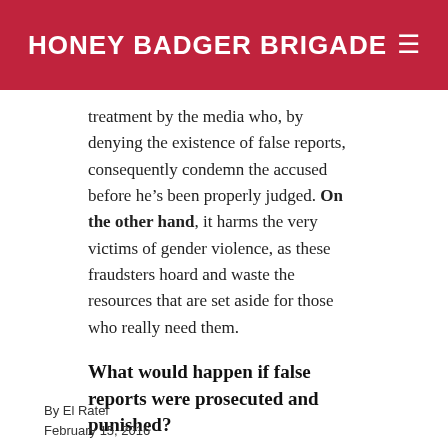HONEY BADGER BRIGADE
treatment by the media who, by denying the existence of false reports, consequently condemn the accused before he’s been properly judged. On the other hand, it harms the very victims of gender violence, as these fraudsters hoard and waste the resources that are set aside for those who really need them.
What would happen if false reports were prosecuted and punished?
A costly machine is turned on whenever a
By El Ratel
February 15, 2016